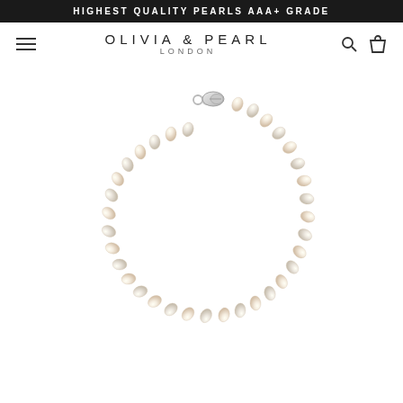HIGHEST QUALITY PEARLS AAA+ GRADE
OLIVIA & PEARL LONDON
[Figure (photo): A pearl bracelet made of small oval freshwater pearls in cream/white color, strung in a circle with a silver lobster clasp visible at the top center, photographed on a white background.]